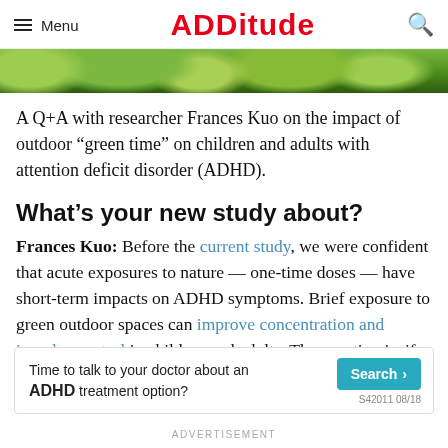Menu  ADDitude  🔍
[Figure (photo): Green leafy outdoor nature scene, top portion of hero image]
A Q+A with researcher Frances Kuo on the impact of outdoor “green time” on children and adults with attention deficit disorder (ADHD).
What’s your new study about?
Frances Kuo: Before the current study, we were confident that acute exposures to nature — one-time doses — have short-term impacts on ADHD symptoms. Brief exposure to green outdoor spaces can improve concentration and impulse control in children and adults. The question is, if
[Figure (infographic): Advertisement banner: Time to talk to your doctor about an ADHD treatment option? Search button. S42011 08/18]
ADVERTISEMENT